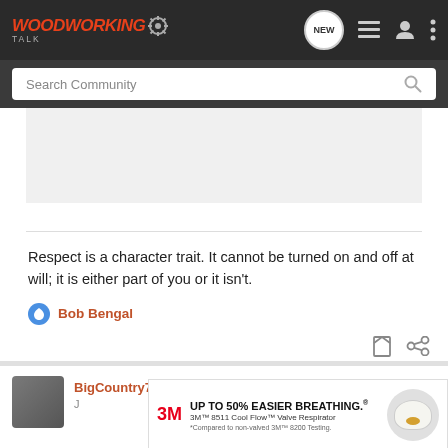WoodworkingTalk
Search Community
[Figure (other): Gray advertisement placeholder banner]
Respect is a character trait. It cannot be turned on and off at will; it is either part of you or it isn't.
Bob Bengal
[Figure (other): 3M UP TO 50% EASIER BREATHING. 3M 8511 Cool Flow Valve Respirator advertisement banner]